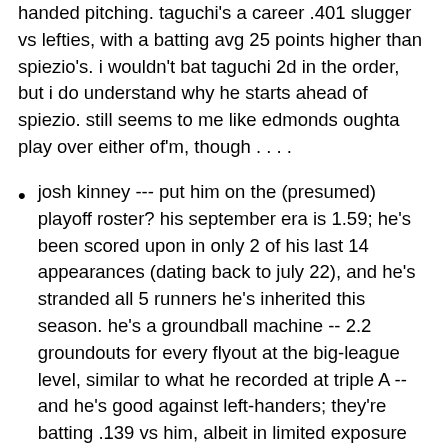handed pitching. taguchi's a career .401 slugger vs lefties, with a batting avg 25 points higher than spiezio's. i wouldn't bat taguchi 2d in the order, but i do understand why he starts ahead of spiezio. still seems to me like edmonds oughta play over either of'm, though . . . .
josh kinney --- put him on the (presumed) playoff roster? his september era is 1.59; he's been scored upon in only 2 of his last 14 appearances (dating back to july 22), and he's stranded all 5 runners he's inherited this season. he's a groundball machine -- 2.2 groundouts for every flyout at the big-league level, similar to what he recorded at triple A -- and he's good against left-handers; they're batting .139 vs him, albeit in limited exposure (42 plate appearances), but kinney was also adequate vs them down at memphis ( .258 /